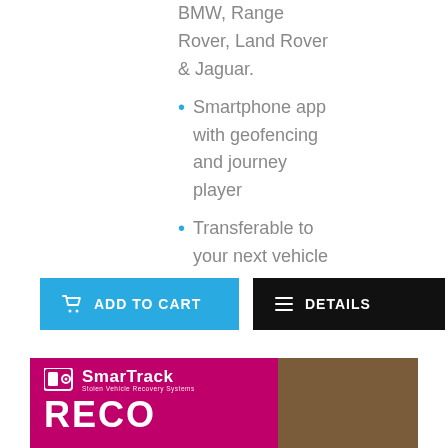BMW, Range Rover, Land Rover & Jaguar.
Smartphone app with geofencing and journey player
Transferable to your next vehicle
[Figure (other): ADD TO CART button (blue) and DETAILS button (black)]
[Figure (other): SmarTrack Stolen Vehicle Recovery Systems banner with RECO text and logo on magenta background with brown/texture on right side]